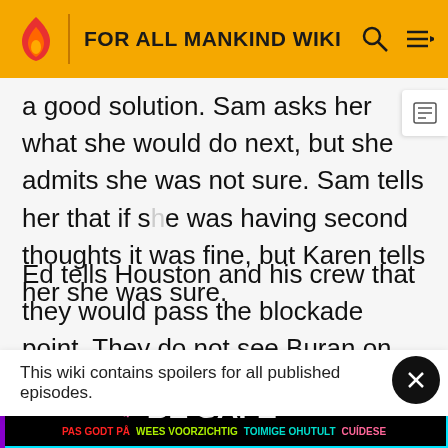FOR ALL MANKIND WIKI
a good solution. Sam asks her what she would do next, but she admits she was not sure. Sam tells her that if she was having second thoughts it was fine, but Karen tells her she was sure.
Ed tells Houston and his crew that they would pass the blockade point. They do not see Buran on their radar. They ask Houston about Buran and are told that they were on the dark side of the Moon, which was a relief for Gary, but
This wiki contains spoilers for all published episodes.
Reagan speaks to the Soviet Union's leader, who tells h that if t... Union would n... eagan.
[Figure (infographic): BE SAFE multilingual safety banner with colored text in multiple languages]